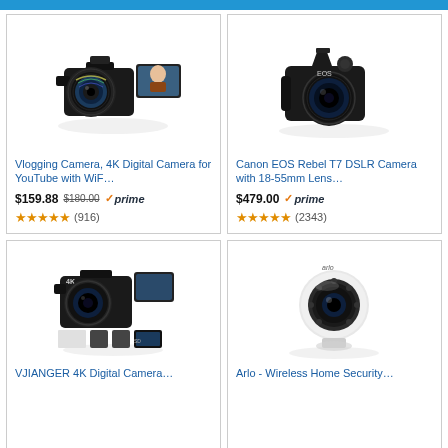[Figure (photo): Vlogging Camera 4K digital camera with flip screen and wide-angle lens]
Vlogging Camera, 4K Digital Camera for YouTube with WiF…
$159.88  $180.00  ✓prime
★★★★★ (916)
[Figure (photo): Canon EOS Rebel T7 DSLR Camera with 18-55mm kit lens]
Canon EOS Rebel T7 DSLR Camera with 18-55mm Lens…
$479.00  ✓prime
★★★★★ (2343)
[Figure (photo): VJIANGER 4K Digital Camera with flip screen and accessories]
VJIANGER 4K Digital Camera…
[Figure (photo): Arlo Wireless Home Security camera (white dome/bullet style)]
Arlo - Wireless Home Security…